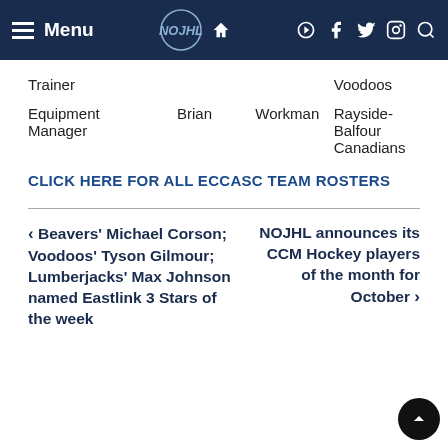Menu | [NOJHL Logo] [Home icon] [YouTube] [Facebook] [Twitter] [Instagram] [Search]
| Role | First Name | Last Name | Team |
| --- | --- | --- | --- |
| Trainer |  |  | Voodoos |
| Equipment Manager | Brian | Workman | Rayside-Balfour Canadians |
CLICK HERE FOR ALL ECCASC TEAM ROSTERS
< Beavers' Michael Corson; Voodoos' Tyson Gilmour; Lumberjacks' Max Johnson named Eastlink 3 Stars of the week
NOJHL announces its CCM Hockey players of the month for October >